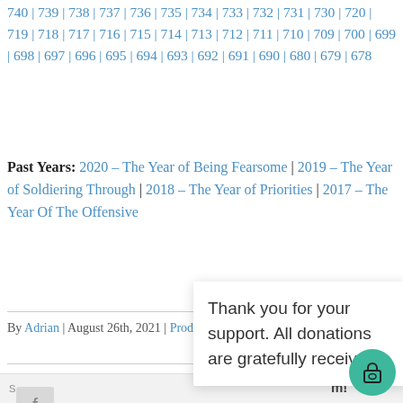740 | 739 | 738 | 737 | 736 | 735 | 734 | 733 | 732 | 731 | 730 | 720 | 719 | 718 | 717 | 716 | 715 | 714 | 713 | 712 | 711 | 710 | 709 | 700 | 699 | 698 | 697 | 696 | 695 | 694 | 693 | 692 | 691 | 690 | 680 | 679 | 678
Past Years: 2020 – The Year of Being Fearsome | 2019 – The Year of Soldiering Through | 2018 – The Year of Priorities | 2017 – The Year Of The Offensive
By Adrian | August 26th, 2021 | Productivity, The Climb | 0 Comments
Thank you for your support. All donations are gratefully received